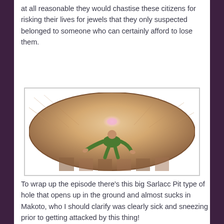at all reasonable they would chastise these citizens for risking their lives for jewels that they only suspected belonged to someone who can certainly afford to lose them.
[Figure (photo): A figure of a person in green clothing lying on the sloped sandy inner wall of a large pit-like structure, viewed from above. A pink glowing light is visible in the center of the pit.]
To wrap up the episode there’s this big Sarlacc Pit type of hole that opens up in the ground and almost sucks in Makoto, who I should clarify was clearly sick and sneezing prior to getting attacked by this thing!